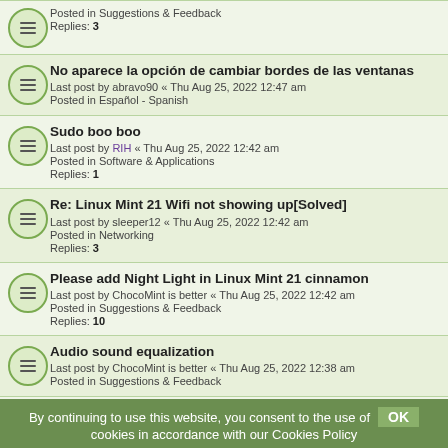Posted in Suggestions & Feedback
Replies: 3
No aparece la opción de cambiar bordes de las ventanas
Last post by abravo90 « Thu Aug 25, 2022 12:47 am
Posted in Español - Spanish
Sudo boo boo
Last post by RIH « Thu Aug 25, 2022 12:42 am
Posted in Software & Applications
Replies: 1
Re: Linux Mint 21 Wifi not showing up[Solved]
Last post by sleeper12 « Thu Aug 25, 2022 12:42 am
Posted in Networking
Replies: 3
Please add Night Light in Linux Mint 21 cinnamon
Last post by ChocoMint is better « Thu Aug 25, 2022 12:42 am
Posted in Suggestions & Feedback
Replies: 10
Audio sound equalization
Last post by ChocoMint is better « Thu Aug 25, 2022 12:38 am
Posted in Suggestions & Feedback
How to update/upgrade a PC not updated since 1 year [SOLVED]
Last post by 52ROSt « Thu Aug 25, 2022 12:37 am
Posted in Software & Applications
Replies: 6
Screen Resolution
By continuing to use this website, you consent to the use of cookies in accordance with our Cookies Policy